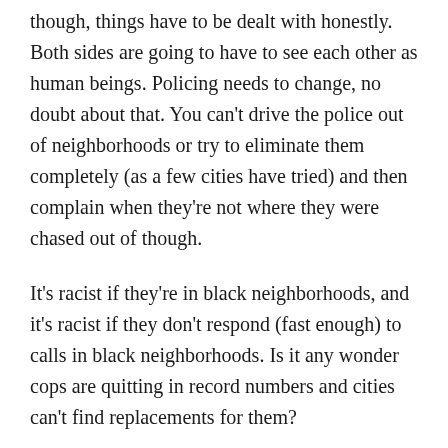though, things have to be dealt with honestly. Both sides are going to have to see each other as human beings. Policing needs to change, no doubt about that. You can't drive the police out of neighborhoods or try to eliminate them completely (as a few cities have tried) and then complain when they're not where they were chased out of though.
It's racist if they're in black neighborhoods, and it's racist if they don't respond (fast enough) to calls in black neighborhoods. Is it any wonder cops are quitting in record numbers and cities can't find replacements for them?
I've seen the impact firsthand there. We left